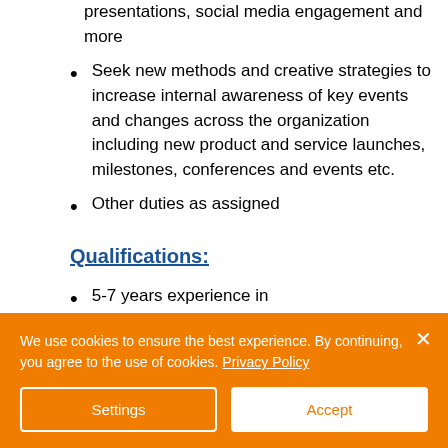presentations, social media engagement and more
Seek new methods and creative strategies to increase internal awareness of key events and changes across the organization including new product and service launches, milestones, conferences and events etc.
Other duties as assigned
Qualifications:
5-7 years experience in
We use cookies to ensure the best experience. By continuing, you agree to the use of cookies. Privacy Policy
Settings
Accept